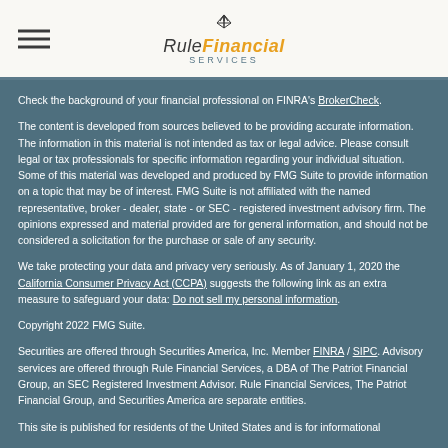Rule Financial Services
Check the background of your financial professional on FINRA's BrokerCheck.
The content is developed from sources believed to be providing accurate information. The information in this material is not intended as tax or legal advice. Please consult legal or tax professionals for specific information regarding your individual situation. Some of this material was developed and produced by FMG Suite to provide information on a topic that may be of interest. FMG Suite is not affiliated with the named representative, broker - dealer, state - or SEC - registered investment advisory firm. The opinions expressed and material provided are for general information, and should not be considered a solicitation for the purchase or sale of any security.
We take protecting your data and privacy very seriously. As of January 1, 2020 the California Consumer Privacy Act (CCPA) suggests the following link as an extra measure to safeguard your data: Do not sell my personal information.
Copyright 2022 FMG Suite.
Securities are offered through Securities America, Inc. Member FINRA / SIPC. Advisory services are offered through Rule Financial Services, a DBA of The Patriot Financial Group, an SEC Registered Investment Advisor. Rule Financial Services, The Patriot Financial Group, and Securities America are separate entities.
This site is published for residents of the United States and is for informational